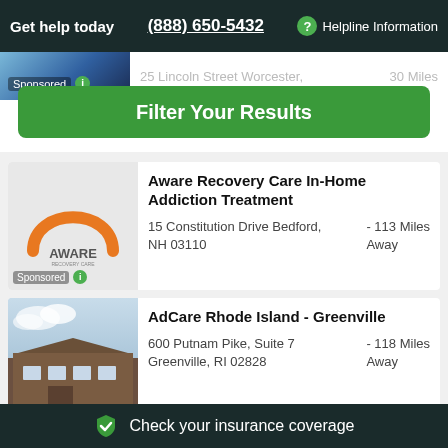Get help today  (888) 650-5432  ? Helpline Information
25 Lincoln Street Worcester,  30 Miles
Filter Your Results
Sponsored i
[Figure (logo): Aware Recovery Care logo with orange arch above AWARE text]
Aware Recovery Care In-Home Addiction Treatment
15 Constitution Drive Bedford, NH 03110  - 113 Miles Away
Sponsored i
[Figure (photo): Exterior photo of AdCare Rhode Island Greenville building]
AdCare Rhode Island - Greenville
600 Putnam Pike, Suite 7 Greenville, RI 02828  - 118 Miles Away
Check your insurance coverage